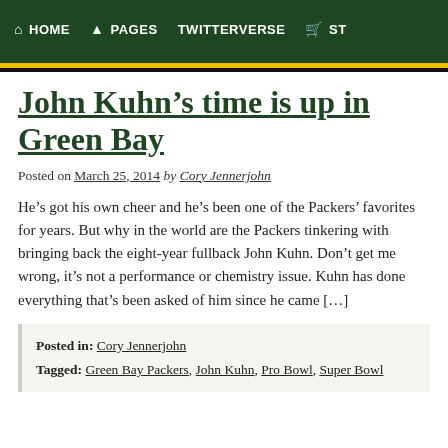HOME  PAGES  TWITTERVERSE  ST
John Kuhn’s time is up in Green Bay
Posted on March 25, 2014 by Cory Jennerjohn
He’s got his own cheer and he’s been one of the Packers’ favorites for years. But why in the world are the Packers tinkering with bringing back the eight-year fullback John Kuhn. Don’t get me wrong, it’s not a performance or chemistry issue. Kuhn has done everything that’s been asked of him since he came […]
Posted in: Cory Jennerjohn
Tagged: Green Bay Packers, John Kuhn, Pro Bowl, Super Bowl